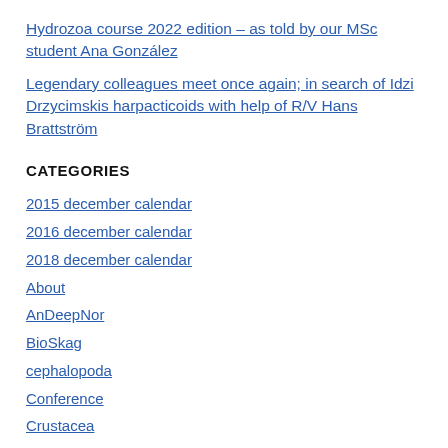Hydrozoa course 2022 edition – as told by our MSc student Ana González
Legendary colleagues meet once again; in search of Idzi Drzycimskis harpacticoids with help of R/V Hans Brattström
CATEGORIES
2015 december calendar
2016 december calendar
2018 december calendar
About
AnDeepNor
BioSkag
cephalopoda
Conference
Crustacea
Current projects
DNA barcode